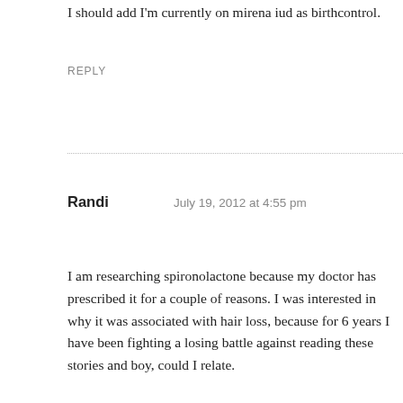I should add I'm currently on mirena iud as birthcontrol.
REPLY
Randi   July 19, 2012 at 4:55 pm
I am researching spironolactone because my doctor has prescribed it for a couple of reasons. I was interested in why it was associated with hair loss, because for 6 years I have been fighting a losing battle against... reading these stories and boy, could I relate.
About 7 years ago I noticed that when I did my hair in the morning, by the time that I was done I would have a ring of hair on the floor around my feet. Knowing something was wrong I went to my doctor who told me it "was nothing" and I "was just depressed and should go on antidepressants". I refused and deep down I knew this wasn't true, this was not depression! So I pushed and pushed and finally convinced my doctor to send me to dermatologist. When I finally got in to see the dermatologist she tried to tell me that it was probably just because my iron was low, it was at the low end of the normal range.